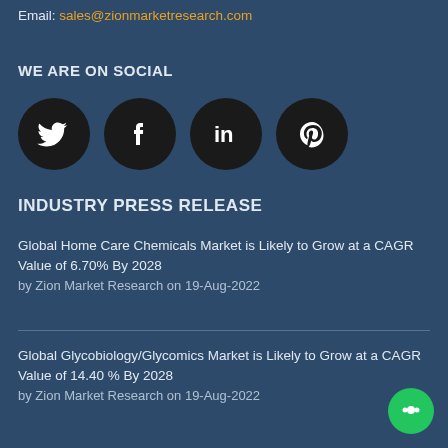Email: sales@zionmarketresearch.com
WE ARE ON SOCIAL
[Figure (illustration): Four social media icons (Twitter, Facebook, LinkedIn, Pinterest) as white icons on dark circular backgrounds]
INDUSTRY PRESS RELEASE
Global Home Care Chemicals Market is Likely to Grow at a CAGR Value of 6.70% By 2028
by Zion Market Research on 19-Aug-2022
Global Glycobiology/Glycomics Market is Likely to Grow at a CAGR Value of 14.40 % By 2028
by Zion Market Research on 19-Aug-2022